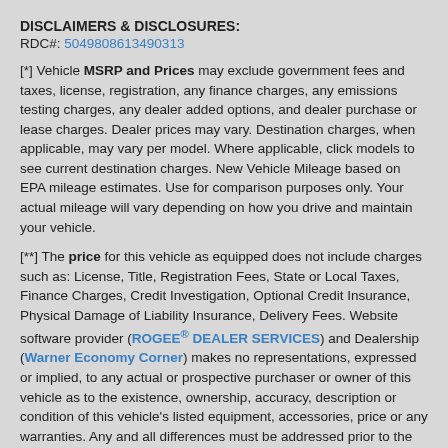DISCLAIMERS & DISCLOSURES:
RDC#: 5049808613490313
[*] Vehicle MSRP and Prices may exclude government fees and taxes, license, registration, any finance charges, any emissions testing charges, any dealer added options, and dealer purchase or lease charges. Dealer prices may vary. Destination charges, when applicable, may vary per model. Where applicable, click models to see current destination charges. New Vehicle Mileage based on EPA mileage estimates. Use for comparison purposes only. Your actual mileage will vary depending on how you drive and maintain your vehicle.
[**] The price for this vehicle as equipped does not include charges such as: License, Title, Registration Fees, State or Local Taxes, Finance Charges, Credit Investigation, Optional Credit Insurance, Physical Damage of Liability Insurance, Delivery Fees. Website software provider (ROGEE® DEALER SERVICES) and Dealership (Warner Economy Corner) makes no representations, expressed or implied, to any actual or prospective purchaser or owner of this vehicle as to the existence, ownership, accuracy, description or condition of this vehicle's listed equipment, accessories, price or any warranties. Any and all differences must be addressed prior to the sale of this vehicle.
[***] Contacting & Text Messaging: By submitting a web form with my information at this website, I agree that: (1) I give Warner Economy Corner and its authorized affiliates permission to contact me about the selected